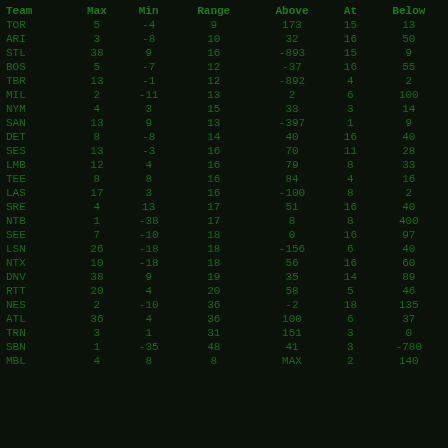| Team | Max | Min | Range | Above | At | Below |
| --- | --- | --- | --- | --- | --- | --- |
| TOR | 5 | -4 | 9 | 173 | 15 | 13 |
| ARI | 3 | -8 | 10 | 32 | 16 | 50 |
| STL | 38 | 9 | 16 | -893 | 15 | 9 |
| BOS | 5 | -7 | 12 | -37 | 16 | 55 |
| TBR | 13 | -1 | 12 | -892 | 4 | 2 |
| MIL | 2 | -11 | 13 | 2 | 6 | 100 |
| NYM | 4 | 3 | 15 | 33 | 3 | 14 |
| SAN | 13 | 9 | 13 | -397 | 1 | 9 |
| DET | 8 | -8 | 14 | 40 | 16 | 40 |
| SES | 13 | -3 | 16 | 70 | 11 | 28 |
| LMB | 12 | 4 | 16 | 79 | 8 | 33 |
| TEE | 8 | 8 | 16 | 84 | 4 | 16 |
| LAS | 17 | 3 | 16 | -100 | 8 | 2 |
| SRE | 4 | 13 | 17 | 51 | 16 | 40 |
| NTB | 1 | -38 | 17 | 8 | 8 | 400 |
| SEE | 7 | -10 | 18 | 0 | 16 | 97 |
| LSN | 26 | -18 | 18 | -156 | 6 | 40 |
| NTX | 10 | -18 | 18 | 56 | 16 | 60 |
| DNV | 38 | 9 | 19 | 35 | 14 | 89 |
| RTT | 20 | 4 | 20 | 58 | 5 | 46 |
| NES | 2 | -10 | 36 | -2 | 18 | 135 |
| ATL | 36 | 4 | 36 | 100 | 6 | 37 |
| TRN | 3 | 1 | 31 | 151 | 3 | 0 |
| SBN | 1 | -35 | 48 | 41 | 3 | -780 |
| MBL | 4 | 8 | 8 | MAX | 2 | 140 |